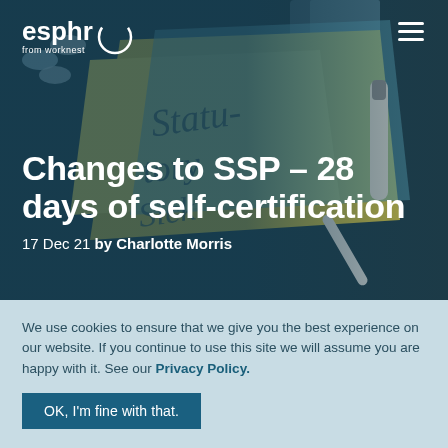[Figure (photo): Hero background photo of sticky notes with 'Statutory Sick Pay' written on them, a marker pen, and pills on a dark surface, with a teal/blue color overlay.]
Changes to SSP – 28 days of self-certification
17 Dec 21 by Charlotte Morris
We use cookies to ensure that we give you the best experience on our website. If you continue to use this site we will assume you are happy with it. See our Privacy Policy.
OK, I'm fine with that.